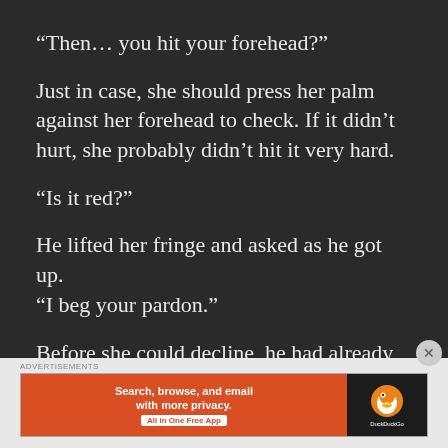“Then… you hit your forehead?”
Just in case, she should press her palm against her forehead to check. If it didn’t hurt, she probably didn’t hit it very hard.
“Is it red?”
He lifted her fringe and asked as he got up. “I beg your pardon.”
Before she could decline, he had already checked her forehead.
[Figure (advertisement): DuckDuckGo advertisement banner with orange left panel reading 'Search, browse, and email with more privacy. All in One Free App' and dark right panel with DuckDuckGo duck logo]